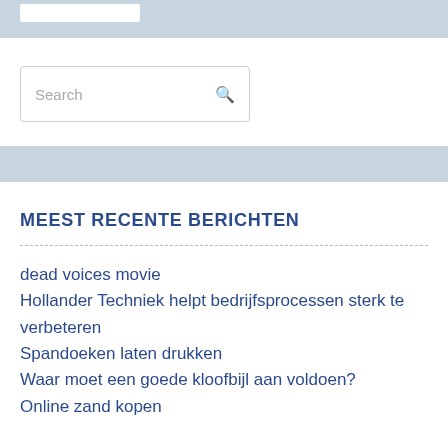[Figure (other): Light blue banner at top with a white rectangle element inside]
[Figure (other): Search input box with placeholder text 'Search' and a search icon on the right]
[Figure (other): Light blue mid-page banner/divider strip]
MEEST RECENTE BERICHTEN
dead voices movie
Hollander Techniek helpt bedrijfsprocessen sterk te verbeteren
Spandoeken laten drukken
Waar moet een goede kloofbijl aan voldoen?
Online zand kopen